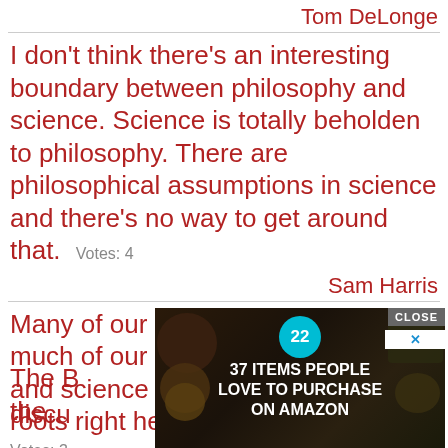Tom DeLonge
I don't think there's an interesting boundary between philosophy and science. Science is totally beholden to philosophy. There are philosophical assumptions in science and there's no way to get around that. Votes: 4
Sam Harris
Many of our ideas of democracy, so much of our literature and philosophy and science can be traced back to roots right here in Athens. Votes: 3
[Figure (other): Advertisement overlay: '37 ITEMS PEOPLE LOVE TO PURCHASE ON AMAZON' with a teal circle showing '22', close button, and food/kitchen background photo]
...bama
The B... in the discu...